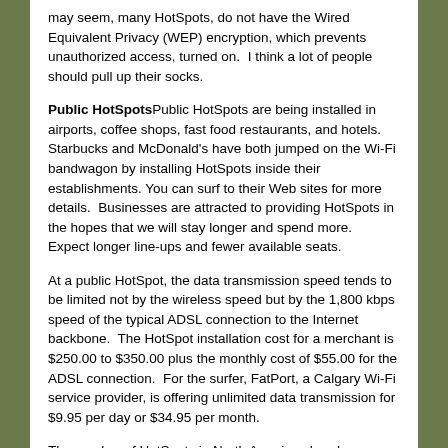may seem, many HotSpots, do not have the Wired Equivalent Privacy (WEP) encryption, which prevents unauthorized access, turned on.  I think a lot of people should pull up their socks.
Public HotSpotsPublic HotSpots are being installed in airports, coffee shops, fast food restaurants, and hotels. Starbucks and McDonald's have both jumped on the Wi-Fi bandwagon by installing HotSpots inside their establishments. You can surf to their Web sites for more details.  Businesses are attracted to providing HotSpots in the hopes that we will stay longer and spend more.  Expect longer line-ups and fewer available seats.
At a public HotSpot, the data transmission speed tends to be limited not by the wireless speed but by the 1,800 kbps speed of the typical ADSL connection to the Internet backbone.  The HotSpot installation cost for a merchant is $250.00 to $350.00 plus the monthly cost of $55.00 for the ADSL connection.  For the surfer, FatPort, a Calgary Wi-Fi service provider, is offering unlimited data transmission for $9.95 per day or $34.95 per month.
The number of HotSpots in North America already exceeds